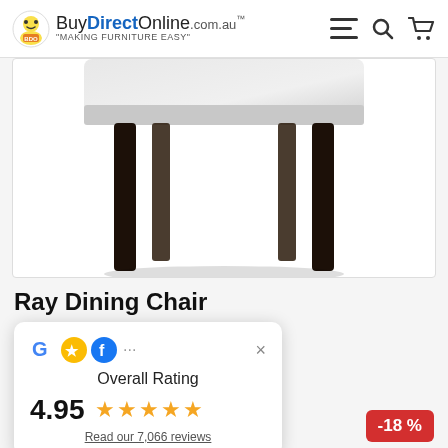BuyDirectOnline.com.au - MAKING FURNITURE EASY
[Figure (photo): Close-up photo of a dining chair with white upholstered seat and dark espresso wooden legs, shown against a white background. Only the lower portion of the chair (seat and legs) is visible.]
Ray Dining Chair
[Figure (infographic): Rating popup widget showing Google, GoodFirms, and Facebook icons. Displays 'Overall Rating' of 4.95 with 5 gold stars and a link to read 7,066 reviews. Has a close (X) button.]
-18 %